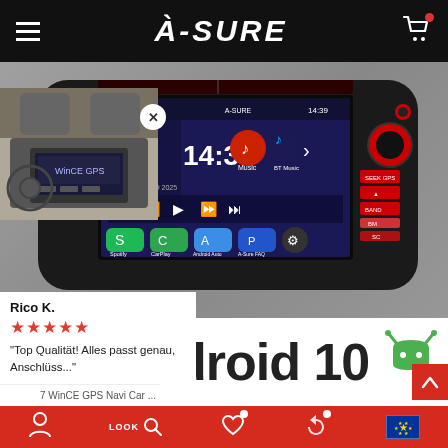À-SURE
[Figure (photo): A-Sure Android car radio/head unit product photo showing the unit installed, displaying 14:39 time, Spotify, CarPlay, Android Auto, speed 58km/h, with red knobs on sides and various control buttons]
[Figure (photo): Small inset thumbnail of a car interior with an older WinCE GPS navigation unit installed in the dashboard]
Rico K.
★★★★★
"Top Qualität! Alles passt genau, Anschlüss..."
7 WinCE GPS Navi Car ...
droid 10
LOOK